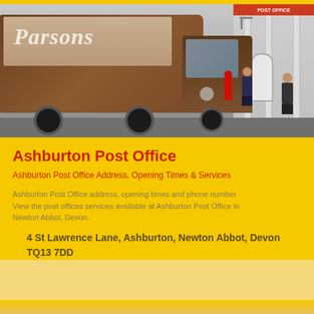[Figure (photo): Street scene showing a brown Parsons removal truck parked outside a post office building on a narrow street. A person is visible walking beside the truck, and another person stands near the building entrance. A red postbox is visible on the pavement.]
Ashburton Post Office
Ashburton Post Office Address, Opening Times & Services
Ashburton Post Office address, opening times and phone number. View the post offices services available at Ashburton Post Office in Newton Abbot, Devon.
4 St Lawrence Lane, Ashburton, Newton Abbot, Devon TQ13 7DD